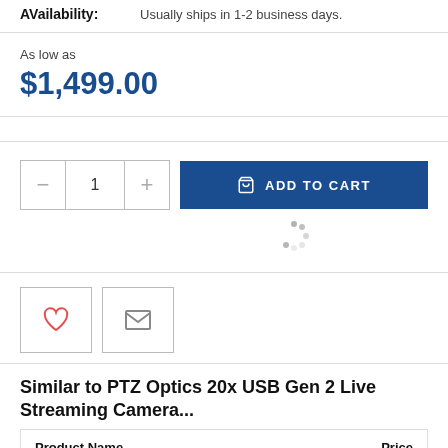AVailability: Usually ships in 1-2 business days.
As low as
$1,499.00
[Figure (other): Quantity selector with minus and plus buttons showing value 1, and a dark blue ADD TO CART button with shopping bag icon, followed by a loading spinner]
[Figure (other): Two icon buttons: a heart (wishlist) icon and an envelope (email) icon]
Similar to PTZ Optics 20x USB Gen 2 Live Streaming Camera...
| Product Name | Price |
| --- | --- |